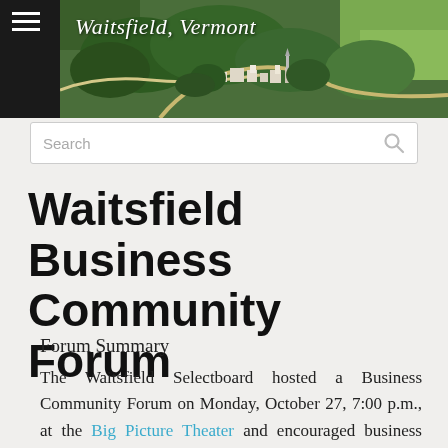[Figure (photo): Aerial photograph of Waitsfield, Vermont showing the town center surrounded by green trees and farmland. The text 'Waitsfield, Vermont' appears in white italic script overlay.]
Search
Waitsfield Business Community Forum
Forum Summary
The Waitsfield Selectboard hosted a Business Community Forum on Monday, October 27, 7:00 p.m., at the Big Picture Theater and encouraged business people, local offiicials,